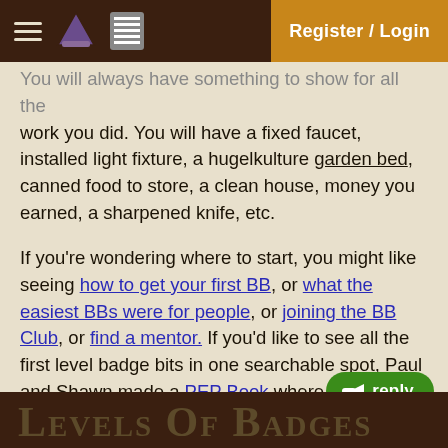Register / Login
work you did. You will have a fixed faucet, installed light fixture, a hugelkulture garden bed, canned food to store, a clean house, money you earned, a sharpened knife, etc.

If you're wondering where to start, you might like seeing how to get your first BB, or what the easiest BBs were for people, or joining the BB Club, or find a mentor. If you'd like to see all the first level badge bits in one searchable spot, Paul and Shawn made a PEP Book where you can read through all Sand badges. If you like an easy way track the badges and BBs you want to do and have done, Ash also made a PEP tracker! His tracker has a PDF, Workflowy, and Trello versions with lists of all the Badge Bits and has ways to mark which ones you've done and want to do.
Levels of Badges